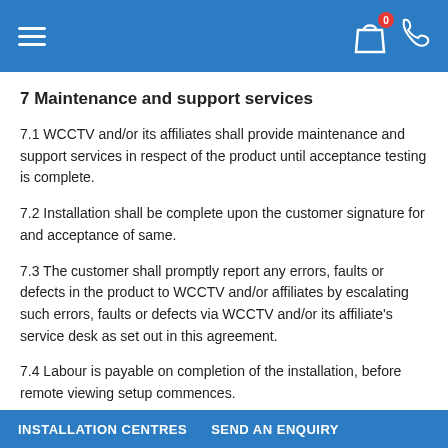Navigation header with hamburger menu, shopping bag icon (0 items), and phone icon
7 Maintenance and support services
7.1 WCCTV and/or its affiliates shall provide maintenance and support services in respect of the product until acceptance testing is complete.
7.2 Installation shall be complete upon the customer signature for and acceptance of same.
7.3 The customer shall promptly report any errors, faults or defects in the product to WCCTV and/or affiliates by escalating such errors, faults or defects via WCCTV and/or its affiliate's service desk as set out in this agreement.
7.4 Labour is payable on completion of the installation, before remote viewing setup commences.
7.5 A credit will be given to the client for any unopened cable
INSTALLATION CENTRES   SEND AN ENQUIRY